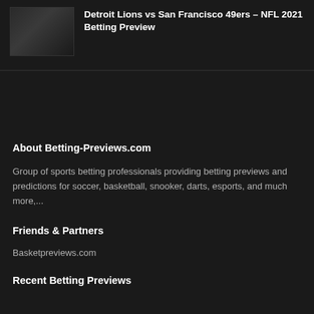[Figure (photo): Dark thumbnail image placeholder for article]
Detroit Lions vs San Francisco 49ers – NFL 2021 Betting Preview
About Betting-Previews.com
Group of sports betting professionals providing betting previews and predictions for soccer, basketball, snooker, darts, esports, and much more,...
Friends & Partners
Basketpreviews.com
Recent Betting Previews